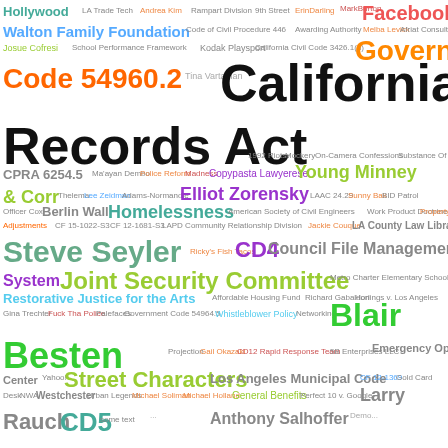[Figure (infographic): Word cloud containing terms related to Los Angeles government, public records, legal codes, and community topics. Prominent terms include California Public Records Act, Facebook, Government, Code 54960.2, Blair Besten, Steve Seyler, Joint Security Committee, Homelessness, Street Characters, CD4, CD5, Restorative Justice for the Arts, LA County Law Library, Council File Management System, Los Angeles Municipal Code, Emergency Operations Center, and many other smaller terms in various colors.]